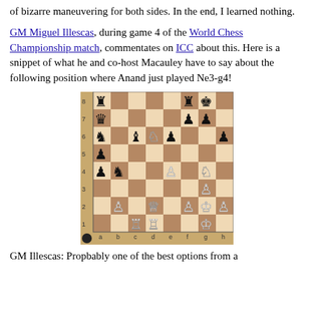of bizarre maneuvering for both sides. In the end, I learned nothing.
GM Miguel Illescas, during game 4 of the World Chess Championship match, commentates on ICC about this. Here is a snippet of what he and co-host Macauley have to say about the following position where Anand just played Ne3-g4!
[Figure (other): Chess board diagram showing a mid-game position with various black and white pieces. Board labeled with ranks 1-8 and files a-h. Black circle indicator in bottom-left corner.]
GM Illescas: Propbably one of the best options from a